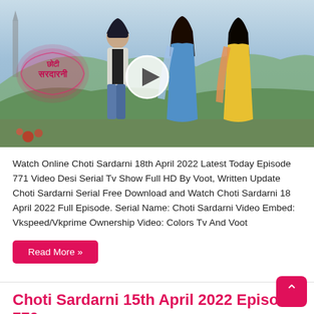[Figure (photo): Video thumbnail for Choti Sardarni TV show. Shows three actors standing outdoors with hills in background. A play button circle is overlaid in the center. The show logo 'Choti Sardarni' in Hindi/Devanagari script appears on the left.]
Watch Online Choti Sardarni 18th April 2022 Latest Today Episode 771 Video Desi Serial Tv Show Full HD By Voot, Written Update Choti Sardarni Serial Free Download and Watch Choti Sardarni 18 April 2022 Full Episode. Serial Name: Choti Sardarni Video Embed: Vkspeed/Vkprime Ownership Video: Colors Tv And Voot
Read More »
Choti Sardarni 15th April 2022 Episode 770